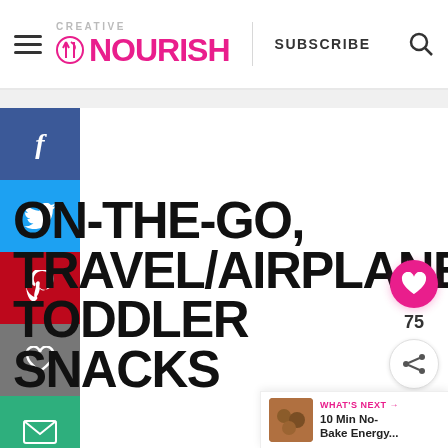Creative Nourish — SUBSCRIBE
[Figure (screenshot): Social media share sidebar with Facebook, Twitter, Pinterest, heart/save, and email buttons on the left side]
ON-THE-GO, TRAVEL/AIRPLANE TODDLER SNACKS
[Figure (infographic): Like button (pink circle with heart icon) showing 75 likes, and a share button below it on the right side]
WHAT'S NEXT → 10 Min No-Bake Energy...